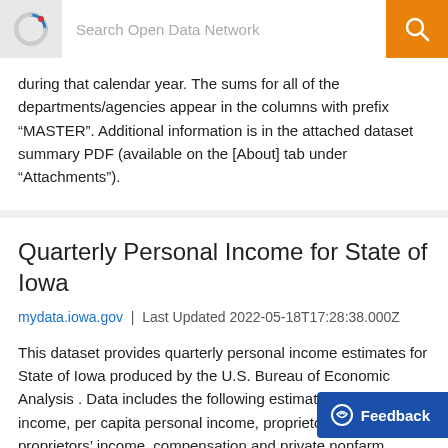Search Open Data Network
during that calendar year. The sums for all of the departments/agencies appear in the columns with prefix “MASTER”. Additional information is in the attached dataset summary PDF (available on the [About] tab under "Attachments").
Quarterly Personal Income for State of Iowa
mydata.iowa.gov | Last Updated 2022-05-18T17:28:38.000Z
This dataset provides quarterly personal income estimates for State of Iowa produced by the U.S. Bureau of Economic Analysis . Data includes the following estimates: personal income, per capita personal income, proprietors’ income, farm proprietors’ income, compensation and private nonfarm earnings, com